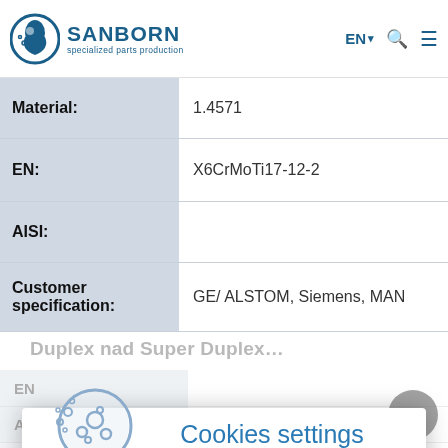Sanborn – specialized parts production | Navigation: EN, Search, Menu
| Field | Value |
| --- | --- |
| Material: | 1.4571 |
| EN: | X6CrMoTi17-12-2 |
| AISI: |  |
| Customer specification: | GE/ ALSTOM, Siemens, MAN |
Duplex nad Super Duplex
Cookies settings
Welcome to our website!
We use cookies to offer useful features and measure performance to improve your experience. We also use these cookies to fully understand how customers use our services so we can make improvements.
AISI: UNS S32101
Customer specification: Primetals, Danieli, SDX
Material: 1.4362
Accept all
Settings